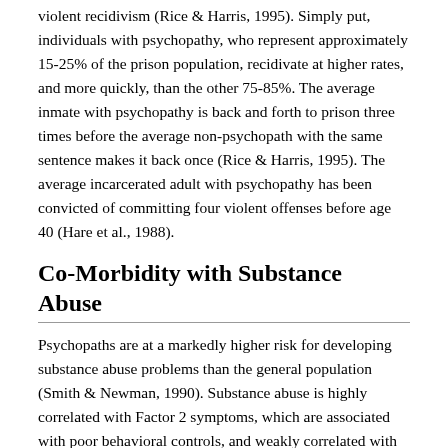violent recidivism (Rice & Harris, 1995). Simply put, individuals with psychopathy, who represent approximately 15-25% of the prison population, recidivate at higher rates, and more quickly, than the other 75-85%. The average inmate with psychopathy is back and forth to prison three times before the average non-psychopath with the same sentence makes it back once (Rice & Harris, 1995). The average incarcerated adult with psychopathy has been convicted of committing four violent offenses before age 40 (Hare et al., 1988).
Co-Morbidity with Substance Abuse
Psychopaths are at a markedly higher risk for developing substance abuse problems than the general population (Smith & Newman, 1990). Substance abuse is highly correlated with Factor 2 symptoms, which are associated with poor behavioral controls, and weakly correlated with Factor 1 symptoms, which relate to affective dysfunction (Smith & Newman, 1990).
Female Psychopathy
Female psychopathy research is significantly more limited than work